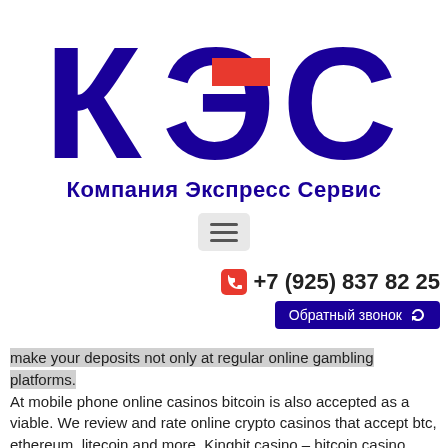[Figure (logo): КЭС logo — large bold dark blue Cyrillic letters К Э С with a red rectangle accent on the Э, and blue subtitle text 'Компания Экспресс Сервис']
[Figure (other): Hamburger menu button (three horizontal lines) on a light grey rounded rectangle background]
+7 (925) 837 82 25
Обратный звонок
make your deposits not only at regular online gambling platforms. At mobile phone online casinos bitcoin is also accepted as a viable. We review and rate online crypto casinos that accept btc, ethereum, litecoin and more. Kingbit casino – bitcoin casino canada. Add: ionobube4 — date: 2021-05-18 12:27:32 — views: 69